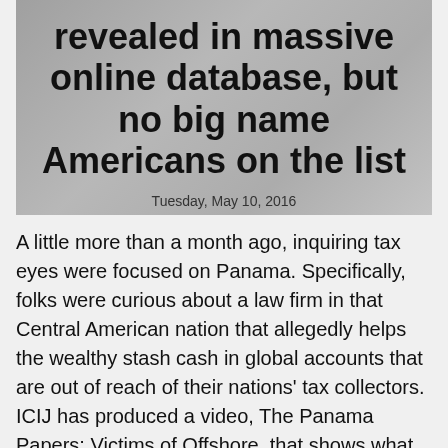revealed in massive online database, but no big name Americans on the list
Tuesday, May 10, 2016
A little more than a month ago, inquiring tax eyes were focused on Panama. Specifically, folks were curious about a law firm in that Central American nation that allegedly helps the wealthy stash cash in global accounts that are out of reach of their nations' tax collectors. ICIJ has produced a video, The Panama Papers: Victims of Offshore, that shows what the organization says are the unseen victims behind the email chains, invoices and documents that make up the Panama Papers